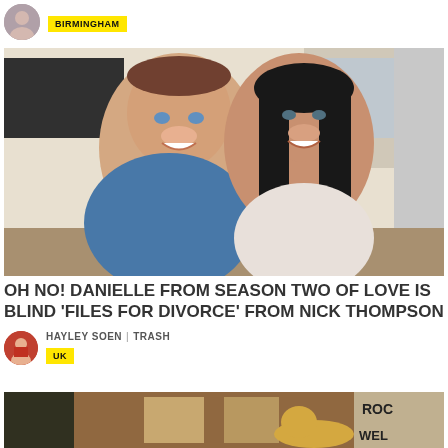[Figure (photo): Circular author avatar photo of a woman, top-left corner]
BIRMINGHAM
[Figure (photo): Couple photo: man with short hair in blue t-shirt and woman with long dark hair smiling together indoors]
OH NO! DANIELLE FROM SEASON TWO OF LOVE IS BLIND 'FILES FOR DIVORCE' FROM NICK THOMPSON
[Figure (photo): Circular author avatar photo of Hayley Soen]
HAYLEY SOEN | TRASH
UK
[Figure (photo): Partial bottom strip photo showing signage with text ROC and WEL visible]